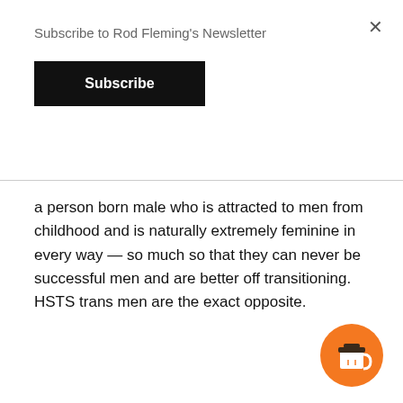Subscribe to Rod Fleming's Newsletter
Subscribe
a person born male who is attracted to men from childhood and is naturally extremely feminine in every way — so much so that they can never be successful men and are better off transitioning. HSTS trans men are the exact opposite.
[Figure (illustration): Orange circular coffee cup button icon in the bottom right corner]